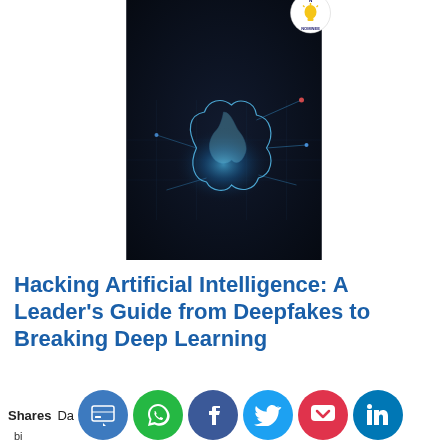[Figure (illustration): Book cover of 'Hacking Artificial Intelligence: A Leader's Guide from Deepfakes to Breaking Deep Learning' by Davey Gibian, with a nominee badge in the top right corner. Dark cover with glowing brain image.]
Hacking Artificial Intelligence: A Leader's Guide from Deepfakes to Breaking Deep Learning
Shares  Davey Gibian